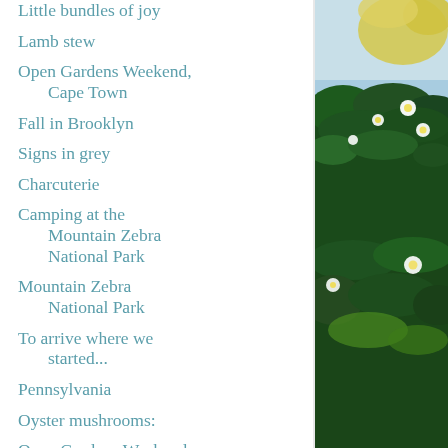Little bundles of joy
Lamb stew
Open Gardens Weekend, Cape Town
Fall in Brooklyn
Signs in grey
Charcuterie
Camping at the Mountain Zebra National Park
Mountain Zebra National Park
To arrive where we started...
Pennsylvania
Oyster mushrooms:
Open Gardens Weekend,
[Figure (photo): Outdoor garden photo showing green plants, white flowers, and blue sky in the background]